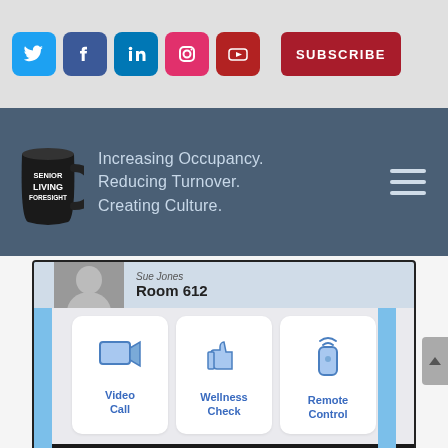[Figure (screenshot): Social media icons (Twitter, Facebook, LinkedIn, Instagram, YouTube) and a red Subscribe button on a light gray bar]
[Figure (logo): Senior Living Foresight logo with a black mug and text: Increasing Occupancy. Reducing Turnover. Creating Culture. on dark blue-gray background with hamburger menu icon]
[Figure (screenshot): Tablet/device screenshot showing a person named Sue Jones in Room 612 with Video Call, Wellness Check, and Remote Control buttons]
Share This
CATEGORIES